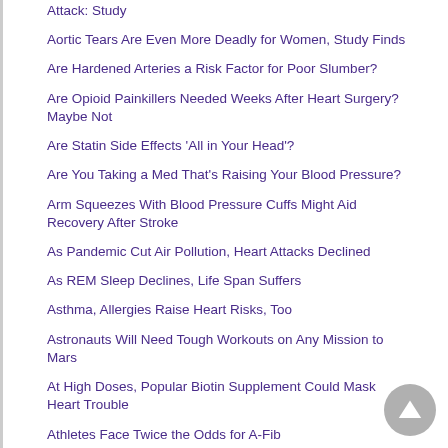Attack: Study
Aortic Tears Are Even More Deadly for Women, Study Finds
Are Hardened Arteries a Risk Factor for Poor Slumber?
Are Opioid Painkillers Needed Weeks After Heart Surgery? Maybe Not
Are Statin Side Effects 'All in Your Head'?
Are You Taking a Med That's Raising Your Blood Pressure?
Arm Squeezes With Blood Pressure Cuffs Might Aid Recovery After Stroke
As Pandemic Cut Air Pollution, Heart Attacks Declined
As REM Sleep Declines, Life Span Suffers
Asthma, Allergies Raise Heart Risks, Too
Astronauts Will Need Tough Workouts on Any Mission to Mars
At High Doses, Popular Biotin Supplement Could Mask Heart Trouble
Athletes Face Twice the Odds for A-Fib